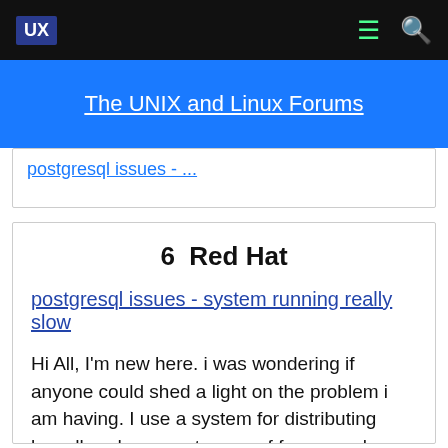UX | ☰ 🔍
The UNIX and Linux Forums
postgresql issues - system running really slow (partial, cut off)
6  Red Hat
postgresql issues - system running really slow
Hi All, I'm new here. i was wondering if anyone could shed a light on the problem i am having. I use a system for distributing broadband amongst users of for example a hotel, the system was designed by someone in the US and it is based on redhat 2.4 (i know its old) and the system uses